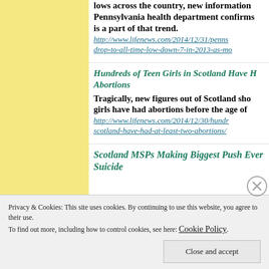lows across the country, new information Pennsylvania health department confirms is a part of that trend.
http://www.lifenews.com/2014/12/31/penns drop-to-all-time-low-down-7-in-2013-as-mo
Hundreds of Teen Girls in Scotland Have H Abortions
Tragically, new figures out of Scotland sho girls have had abortions before the age of
http://www.lifenews.com/2014/12/30/hundr scotland-have-had-at-least-two-abortions/
Scotland MSPs Making Biggest Push Ever Suicide
Privacy & Cookies: This site uses cookies. By continuing to use this website, you agree to their use. To find out more, including how to control cookies, see here: Cookie Policy
Close and accept